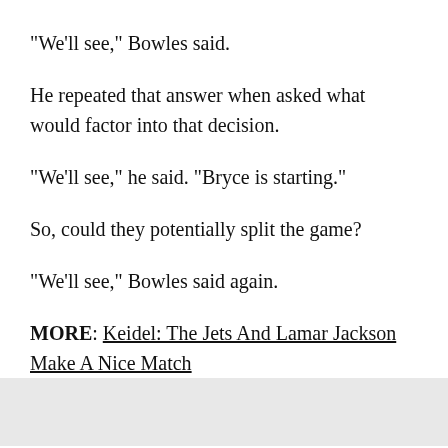"We'll see," Bowles said.
He repeated that answer when asked what would factor into that decision.
"We'll see," he said. "Bryce is starting."
So, could they potentially split the game?
"We'll see," Bowles said again.
MORE: Keidel: The Jets And Lamar Jackson Make A Nice Match
Petty has mostly struggled in his two starts since